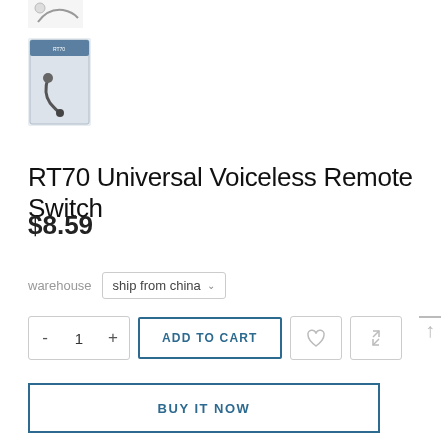[Figure (photo): Partial product thumbnail image at top (cropped headset/cable image)]
[Figure (photo): Product thumbnail image showing RT70 Universal Voiceless Remote Switch in retail packaging]
RT70 Universal Voiceless Remote Switch
$8.59
warehouse  ship from china
- 1 +  ADD TO CART
BUY IT NOW